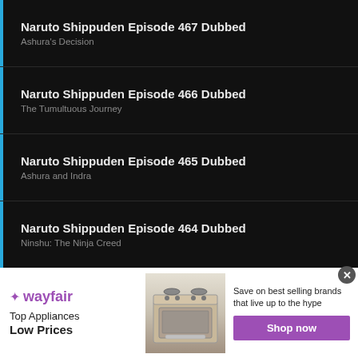Naruto Shippuden Episode 467 Dubbed
Ashura's Decision
Naruto Shippuden Episode 466 Dubbed
The Tumultuous Journey
Naruto Shippuden Episode 465 Dubbed
Ashura and Indra
Naruto Shippuden Episode 464 Dubbed
Ninshu: The Ninja Creed
Naruto Shippuden Episode 463 Dubbed
The No. 1 Most Unpredictable Ninja
Naruto Shippuden Episode 462 Dubbed
[Figure (screenshot): Wayfair advertisement banner: Top Appliances Low Prices, Save on best selling brands that live up to the hype, Shop now button, image of a kitchen stove/range appliance.]